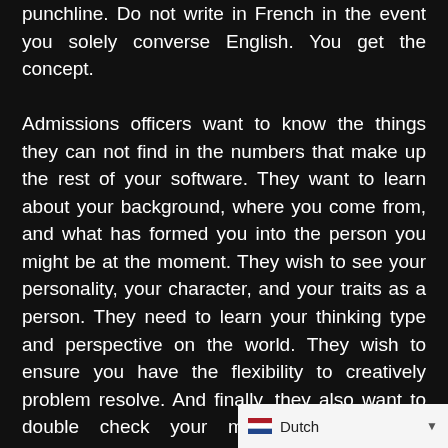punchline. Do not write in French in the event you solely converse English. You get the concept.

Admissions officers want to know the things they can not find in the numbers that make up the rest of your software. They want to learn about your background, where you come from, and what has formed you into the person you might be at the moment. They wish to see your personality, your character, and your traits as a person. They need to learn your thinking type and perspective on the world. They wish to ensure you have the flexibility to creatively problem resolve. And finally, they also want to double check your maturity stage, your judgment, and get a general sense of whether or not you'll be an excellent faculty scholar, whether you